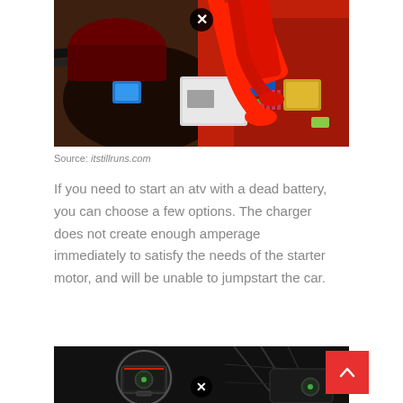[Figure (photo): Close-up photo of a car engine bay showing fuse box, relays, and red jumper cable clamps attached. A circular X badge overlays the top-center of the image.]
Source: itstillruns.com
If you need to start an atv with a dead battery, you can choose a few options. The charger does not create enough amperage immediately to satisfy the needs of the starter motor, and will be unable to jumpstart the car.
[Figure (photo): Dark image showing a portable jump starter device with a circular zoom-in detail on the left, and a vehicle undercarriage on the right. A circular X badge overlays the bottom-center. Red scroll-up button in top-right corner.]